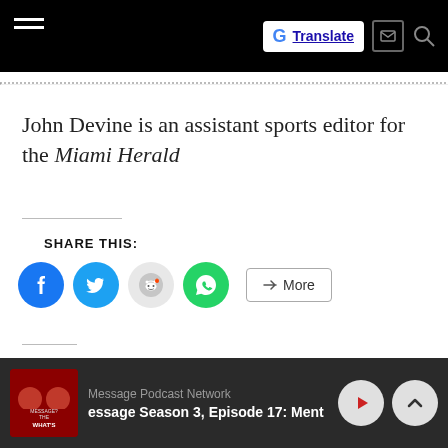Translate
John Devine is an assistant sports editor for the Miami Herald
SHARE THIS:
[Figure (infographic): Social share buttons: Facebook, Twitter, Reddit, WhatsApp, and More]
Related
Message Podcast Network — essage Season 3, Episode 17: Ment